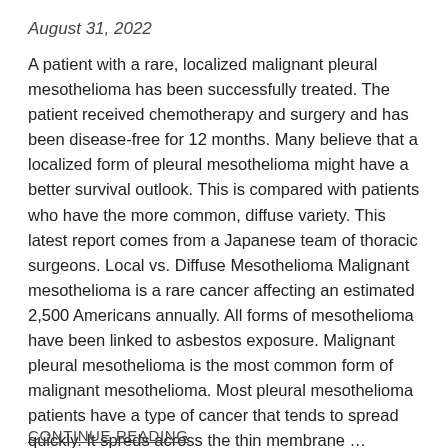August 31, 2022
A patient with a rare, localized malignant pleural mesothelioma has been successfully treated. The patient received chemotherapy and surgery and has been disease-free for 12 months. Many believe that a localized form of pleural mesothelioma might have a better survival outlook. This is compared with patients who have the more common, diffuse variety. This latest report comes from a Japanese team of thoracic surgeons. Local vs. Diffuse Mesothelioma Malignant mesothelioma is a rare cancer affecting an estimated 2,500 Americans annually. All forms of mesothelioma have been linked to asbestos exposure. Malignant pleural mesothelioma is the most common form of malignant mesothelioma. Most pleural mesothelioma patients have a type of cancer that tends to spread quickly. It spreds across the thin membrane …
CONTINUE READING